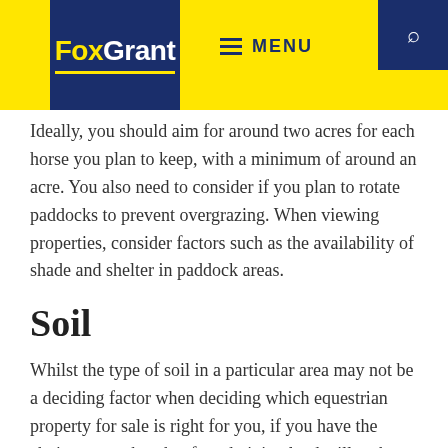[Figure (logo): Fox Grant logo — yellow and white text on dark navy blue background, with 'Fox' in yellow and 'Grant' in white, with a yellow underline. Set against a yellow header bar with a navy search icon box on the right and a hamburger MENU button in the center.]
Ideally, you should aim for around two acres for each horse you plan to keep, with a minimum of around an acre. You also need to consider if you plan to rotate paddocks to prevent overgrazing. When viewing properties, consider factors such as the availability of shade and shelter in paddock areas.
Soil
Whilst the type of soil in a particular area may not be a deciding factor when deciding which equestrian property for sale is right for you, if you have the choice remember that free-draining land will make maintenance easier